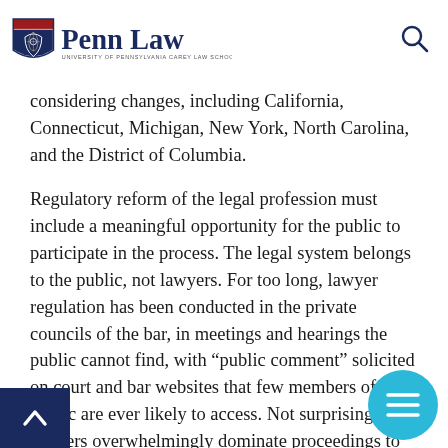Penn Law — University of Pennsylvania Carey Law School
considering changes, including California, Connecticut, Michigan, New York, North Carolina, and the District of Columbia.
Regulatory reform of the legal profession must include a meaningful opportunity for the public to participate in the process. The legal system belongs to the public, not lawyers. For too long, lawyer regulation has been conducted in the private councils of the bar, in meetings and hearings the public cannot find, with “public comment” solicited on court and bar websites that few members of the public are ever likely to access. Not surprisingly, lawyers overwhelmingly dominate proceedings to consider reforms to regulation of the profession.